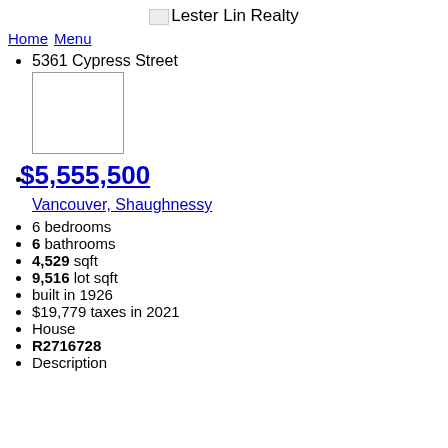Lester Lin Realty
Home  Menu
5361 Cypress Street
[Figure (photo): Property photo placeholder image]
$5,555,500
Vancouver, Shaughnessy
6 bedrooms
6 bathrooms
4,529 sqft
9,516 lot sqft
built in 1926
$19,779 taxes in 2021
House
R2716728
Description